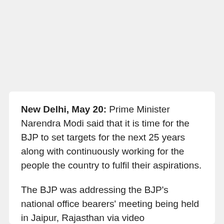New Delhi, May 20: Prime Minister Narendra Modi said that it is time for the BJP to set targets for the next 25 years along with continuously working for the people the country to fulfil their aspirations.
The BJP was addressing the BJP's national office bearers' meeting being held in Jaipur, Rajasthan via video conferencing. India is a land filled with aspirations. Now every citizen of the country wants to see the work being done along with witnessing the outcome.